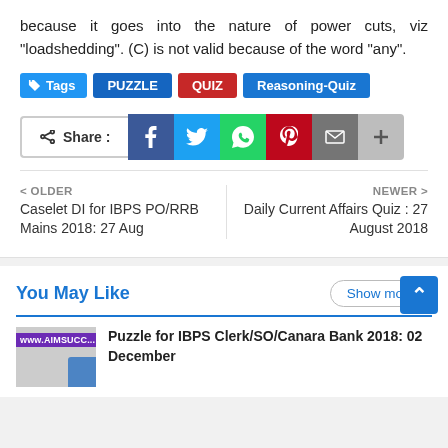because it goes into the nature of power cuts, viz “loadshedding”. (C) is not valid because of the word “any”.
Tags: PUZZLE | QUIZ | Reasoning-Quiz
[Figure (other): Share buttons row: Share label, Facebook, Twitter, WhatsApp, Pinterest, Email, Plus icons]
< OLDER
Caselet DI for IBPS PO/RRB Mains 2018: 27 Aug
NEWER >
Daily Current Affairs Quiz : 27 August 2018
You May Like
Puzzle for IBPS Clerk/SO/Canara Bank 2018: 02 December